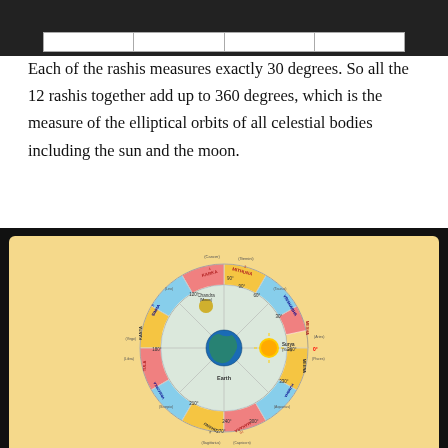[Figure (other): Partial table at top of page, shown against dark background]
Each of the rashis measures exactly 30 degrees. So all the 12 rashis together add up to 360 degrees, which is the measure of the elliptical orbits of all celestial bodies including the sun and the moon.
[Figure (other): Circular zodiac diagram showing 12 rashis (Indian zodiac signs) around Earth at center, with Surya (Sun) and Chandra (Moon) marked, degree measurements 0 to 360, colored segments in pink, blue, and yellow, with Sanskrit names and English equivalents for each rashi: Mesha (Aries), Vrishabha (Taurus), Mithuna (Gemini), Karka (Cancer), Simha (Leo), Kanya (Virgo), Tula (Libra), Vrischika (Scorpio), Dhanu (Sagittarius), Makara (Capricorn), Kumbha (Aquarius), Meena (Pisces).]